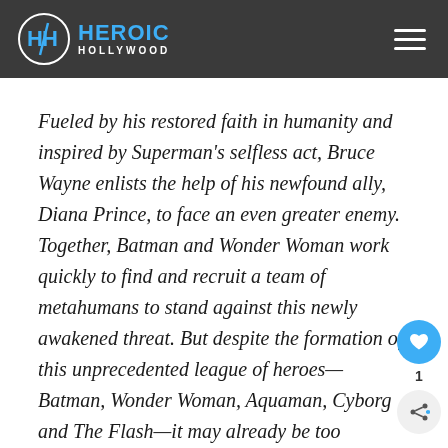Heroic Hollywood
Fueled by his restored faith in humanity and inspired by Superman’s selfless act, Bruce Wayne enlists the help of his newfound ally, Diana Prince, to face an even greater enemy. Together, Batman and Wonder Woman work quickly to find and recruit a team of metahumans to stand against this newly awakened threat. But despite the formation of this unprecedented league of heroes—Batman, Wonder Woman, Aquaman, Cyborg and The Flash—it may already be too